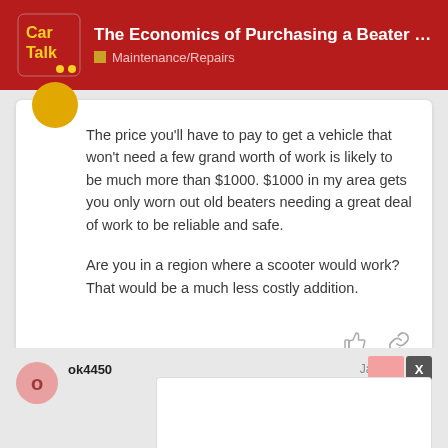The Economics of Purchasing a Beater for ... | Maintenance/Repairs
The price you'll have to pay to get a vehicle that won't need a few grand worth of work is likely to be much more than $1000. $1000 in my area gets you only worn out old beaters needing a great deal of work to be reliable and safe.

Are you in a region where a scooter would work? That would be a much less costly addition.
ok4450
Jan '12